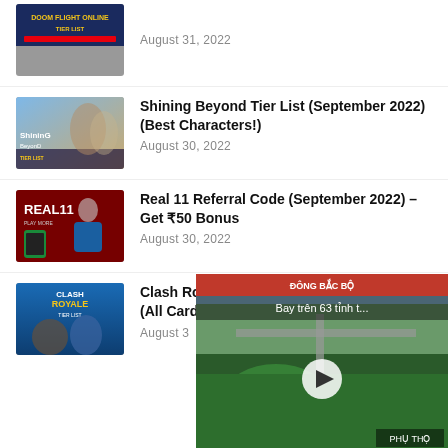August 31, 2022
Shining Beyond Tier List (September 2022) (Best Characters!) — August 30, 2022
Real 11 Referral Code (September 2022) – Get ₹50 Bonus — August 30, 2022
Clash Royale Tier List (September 2022) (All Cards!) — August 3...
[Figure (screenshot): Video overlay showing aerial view of a city/park area with text 'Bay trên 63 tỉnh t...' and location label 'PHỤTHO', red header 'ĐÔNG BẮC BỘ', play button in center]